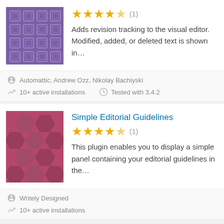[Figure (other): Purple geometric squares pattern plugin thumbnail]
★★★★★ (1)
Adds revision tracking to the visual editor. Modified, added, or deleted text is shown in…
Automattic, Andrew Ozz, Nikolay Bachiyski
10+ active installations   Tested with 3.4.2
[Figure (other): Pink hexagon pattern plugin thumbnail for Simple Editorial Guidelines]
Simple Editorial Guidelines
★★★★★ (1)
This plugin enables you to display a simple panel containing your editorial guidelines in the…
Writely Designed
10+ active installations